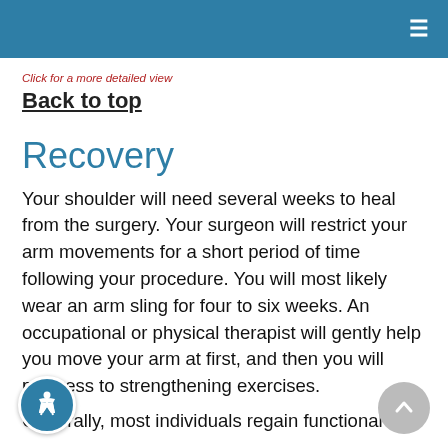≡
Click for a more detailed view
Back to top
Recovery
Your shoulder will need several weeks to heal from the surgery. Your surgeon will restrict your arm movements for a short period of time following your procedure. You will most likely wear an arm sling for four to six weeks. An occupational or physical therapist will gently help you move your arm at first, and then you will progress to strengthening exercises.
Generally, most individuals regain functional